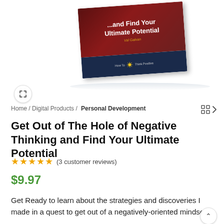[Figure (photo): Book cover for 'Get Out of The Hole of Negative Thinking and Find Your Ultimate Potential' by Val Galvan, shown at an angle with a dark red top section and navy blue bottom section with 'How To Think Positive' branding, displayed on a white background with shadow reflection and an expand icon button.]
Home / Digital Products / Personal Development
Get Out of The Hole of Negative Thinking and Find Your Ultimate Potential
★★★★★ (3 customer reviews)
$9.97
Get Ready to learn about the strategies and discoveries I made in a quest to get out of a negatively-oriented mindset